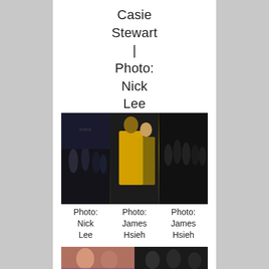Casie Stewart | Photo: Nick Lee
[Figure (photo): Three event photos side by side: left shows group in dark clothing, center shows man in yellow jacket with woman in yellow dress, right shows group in dark clothing]
Photo: Nick Lee   Photo: James Hsieh   Photo: James Hsieh
[Figure (photo): Two partial event photos at bottom of page]